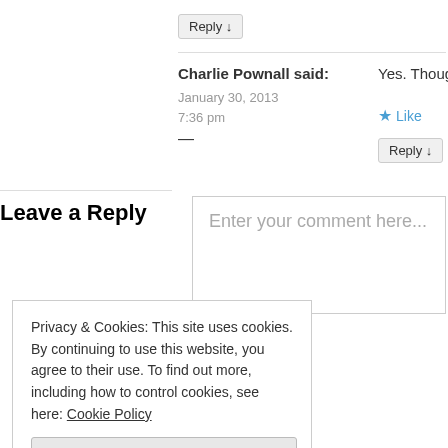Reply ↓
Charlie Pownall said:
January 30, 2013
7:36 pm
Yes. Though there are a
★ Like
Reply ↓
Leave a Reply
Enter your comment here...
Privacy & Cookies: This site uses cookies. By continuing to use this website, you agree to their use. To find out more, including how to control cookies, see here: Cookie Policy
Close and accept